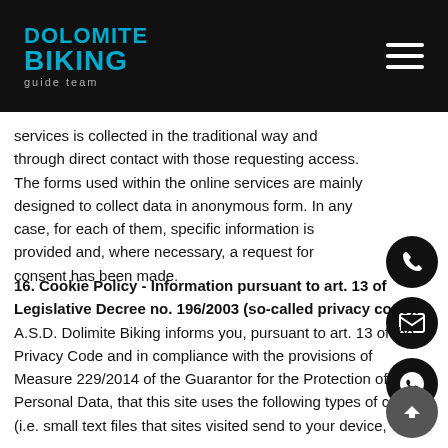DOLOMITE BIKING guide team
services is collected in the traditional way and through direct contact with those requesting access. The forms used within the online services are mainly designed to collect data in anonymous form. In any case, for each of them, specific information is provided and, where necessary, a request for consent has been made.
16. Cookie Policy - Information pursuant to art. 13 of Legislative Decree no. 196/2003 (so-called privacy code):
A.S.D. Dolimite Biking informs you, pursuant to art. 13 of the Privacy Code and in compliance with the provisions of Measure 229/2014 of the Guarantor for the Protection of Personal Data, that this site uses the following types of cookies (i.e. small text files that sites visited send to your device,